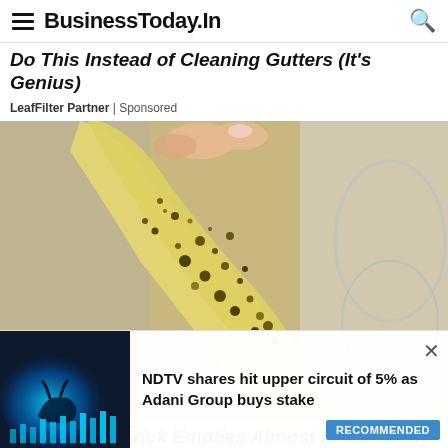BusinessToday.In
Do This Instead of Cleaning Gutters (It's Genius)
LeafFilter Partner | Sponsored
[Figure (photo): Close-up photo of a person holding a yellowish sticky tape or strip covered in dark debris/particles, likely a gutter-related product demonstration]
This Simple Trick Empties Almost Immediately
NDTV shares hit upper circuit of 5% as Adani Group buys stake
RECOMMENDED